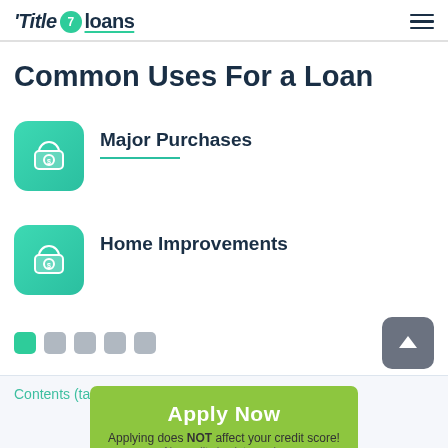Title 7 loans
Common Uses For a Loan
Major Purchases
Home Improvements
Contents (tap to hide)
Apply Now
Applying does NOT affect your credit score! No credit check to apply.
1  What are payday loans College Station and why to use them?